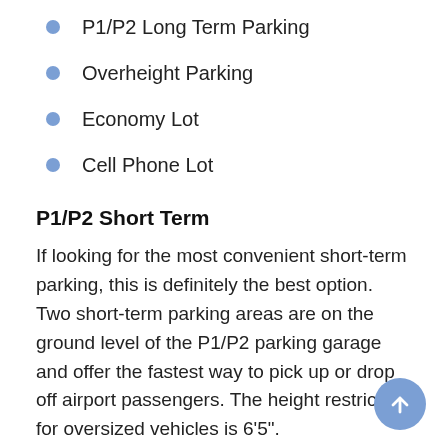P1/P2 Long Term Parking
Overheight Parking
Economy Lot
Cell Phone Lot
P1/P2 Short Term
If looking for the most convenient short-term parking, this is definitely the best option. Two short-term parking areas are on the ground level of the P1/P2 parking garage and offer the fastest way to pick up or drop off airport passengers. The height restriction for oversized vehicles is 6'5".
You are recommended to use this car park for up to one hour since the parking rates are significantly more expensive here than in other lots. The parking rates are